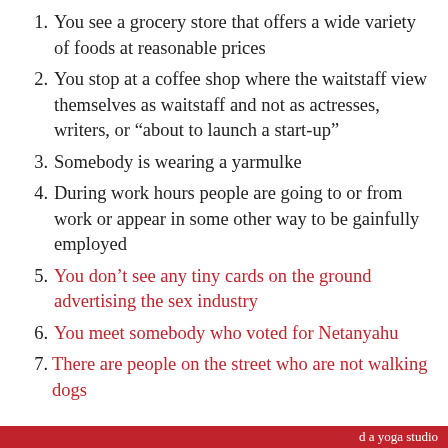1. You see a grocery store that offers a wide variety of foods at reasonable prices
2. You stop at a coffee shop where the waitstaff view themselves as waitstaff and not as actresses, writers, or “about to launch a start-up”
3. Somebody is wearing a yarmulke
4. During work hours people are going to or from work or appear in some other way to be gainfully employed
5. You don’t see any tiny cards on the ground advertising the sex industry
6. You meet somebody who voted for Netanyahu
7. There are people on the street who are not walking dogs
d a yoga studio